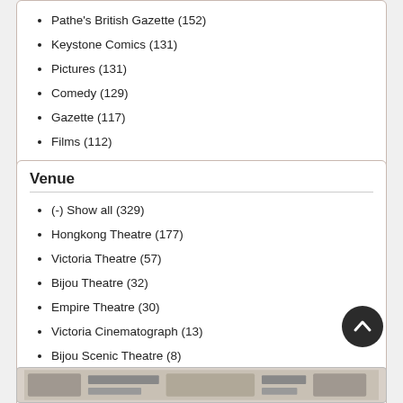Pathe's British Gazette (152)
Keystone Comics (131)
Pictures (131)
Comedy (129)
Gazette (117)
Films (112)
Show more
Venue
(-) Show all (329)
Hongkong Theatre (177)
Victoria Theatre (57)
Bijou Theatre (32)
Empire Theatre (30)
Victoria Cinematograph (13)
Bijou Scenic Theatre (8)
Hong Kong CinematographTheatre (6)
Tivoli Theatre (Sydney) (3)
Alexandra Cinematograph (1)
Show more
[Figure (photo): Bottom strip showing a scanned document or film strip image]